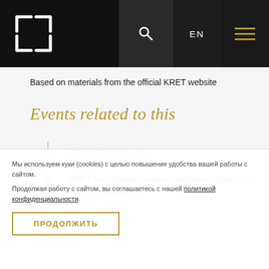KRET website navigation header with logo, search, EN language selector, and menu
Based on materials from the official KRET website
Events related to this
27 NOVEMBER 2014
KRET has created a new navigation system for the T-50 fighter jet
Мы используем куки (cookies) с целью повышения удобства вашей работы с сайтом.
Продолжая работу с сайтом, вы соглашаетесь с нашей политикой конфиденциальности.
ПРОДОЛЖИТЬ